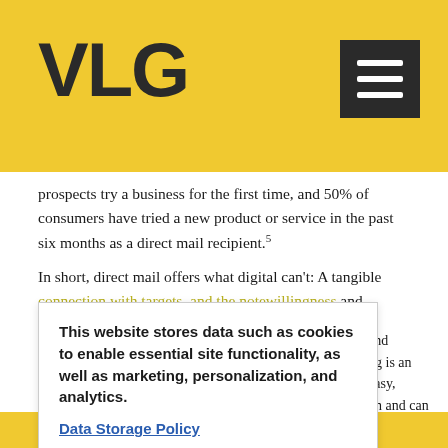VLG
prospects try a business for the first time, and 50% of consumers have tried a new product or service in the past six months as a direct mail recipient.5
In short, direct mail offers what digital can't: A tangible connection with targets, and the notewillingness and … ng is an easy, … on and can go … d customers
This website stores data such as cookies to enable essential site functionality, as well as marketing, personalization, and analytics.
Data Storage Policy
Accept  Deny
1An Appreciation For An Old Friend: Direct Mail